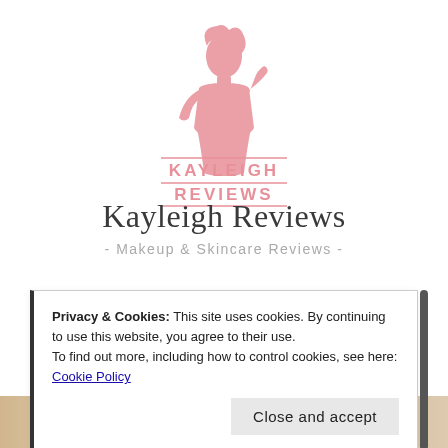[Figure (logo): Kayleigh Reviews logo: a pink silhouette of a woman with horizontal lines above and below, text 'KAYLEIGH REVIEWS' in pink capitals with lines above and below each word]
Kayleigh Reviews
- Makeup & Skincare Reviews -
Privacy & Cookies: This site uses cookies. By continuing to use this website, you agree to their use.
To find out more, including how to control cookies, see here: Cookie Policy
Close and accept